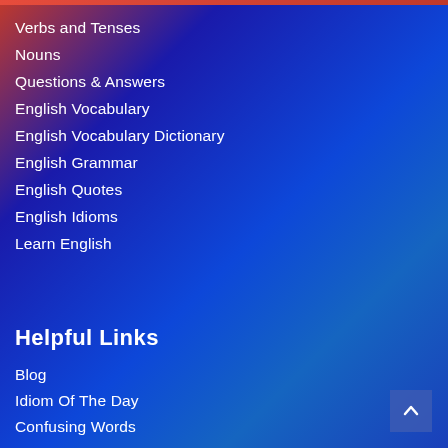Verbs and Tenses
Nouns
Questions & Answers
English Vocabulary
English Vocabulary Dictionary
English Grammar
English Quotes
English Idioms
Learn English
Helpful Links
Blog
Idiom Of The Day
Confusing Words
Ways to Say
Phrases